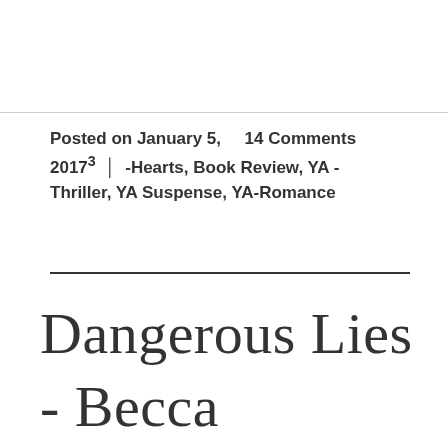Posted on January 5,    14 Comments 20173 | -Hearts, Book Review, YA - Thriller, YA Suspense, YA-Romance
Dangerous Lies - Becca Fitzpatrick